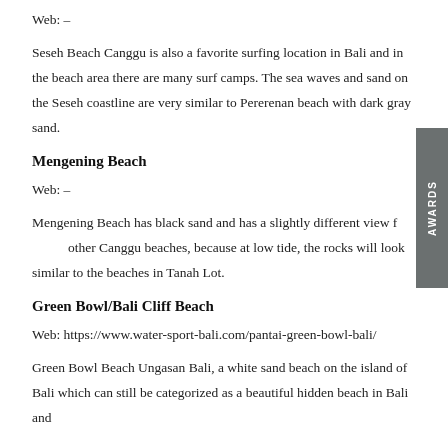Web: –
Seseh Beach Canggu is also a favorite surfing location in Bali and in the beach area there are many surf camps. The sea waves and sand on the Seseh coastline are very similar to Pererenan beach with dark gray sand.
Mengening Beach
Web: –
Mengening Beach has black sand and has a slightly different view from other Canggu beaches, because at low tide, the rocks will look similar to the beaches in Tanah Lot.
Green Bowl/Bali Cliff Beach
Web: https://www.water-sport-bali.com/pantai-green-bowl-bali/
Green Bowl Beach Ungasan Bali, a white sand beach on the island of Bali which can still be categorized as a beautiful hidden beach in Bali and